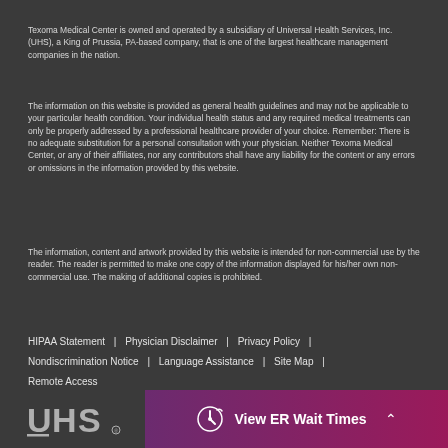Texoma Medical Center is owned and operated by a subsidiary of Universal Health Services, Inc. (UHS), a King of Prussia, PA-based company, that is one of the largest healthcare management companies in the nation.
The information on this website is provided as general health guidelines and may not be applicable to your particular health condition. Your individual health status and any required medical treatments can only be properly addressed by a professional healthcare provider of your choice. Remember: There is no adequate substitution for a personal consultation with your physician. Neither Texoma Medical Center, or any of their affiliates, nor any contributors shall have any liability for the content or any errors or omissions in the information provided by this website.
The information, content and artwork provided by this website is intended for non-commercial use by the reader. The reader is permitted to make one copy of the information displayed for his/her own non-commercial use. The making of additional copies is prohibited.
HIPAA Statement  |  Physician Disclaimer  |  Privacy Policy  |  Nondiscrimination Notice  |  Language Assistance  |  Site Map  |  Remote Access
© 2022 Texoma Medical Center. All rights reserved.
[Figure (logo): UHS (Universal Health Services) logo in white/grey on dark background]
View ER Wait Times